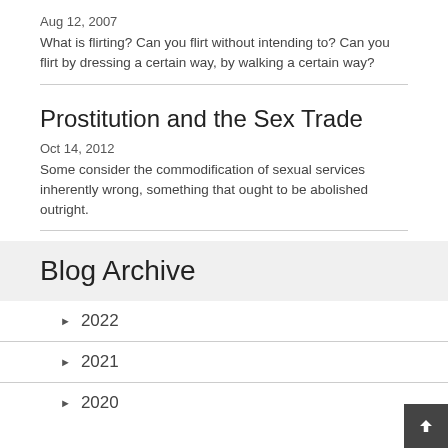Aug 12, 2007
What is flirting? Can you flirt without intending to? Can you flirt by dressing a certain way, by walking a certain way?
Prostitution and the Sex Trade
Oct 14, 2012
Some consider the commodification of sexual services inherently wrong, something that ought to be abolished outright.
Blog Archive
2022
2021
2020